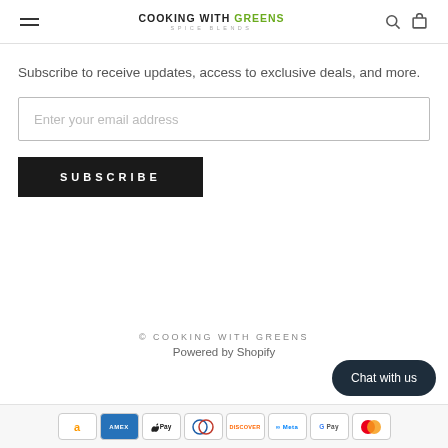COOKING WITH GREENS SPICE BLENDS
Subscribe to receive updates, access to exclusive deals, and more.
Enter your email address
SUBSCRIBE
© COOKING WITH GREENS
Powered by Shopify
Chat with us